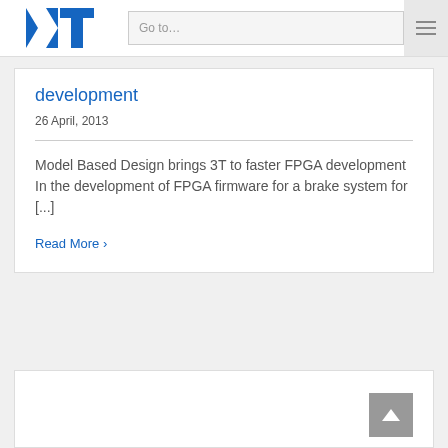Go to...
development
26 April, 2013
Model Based Design brings 3T to faster FPGA development
In the development of FPGA firmware for a brake system for [...]
Read More ›